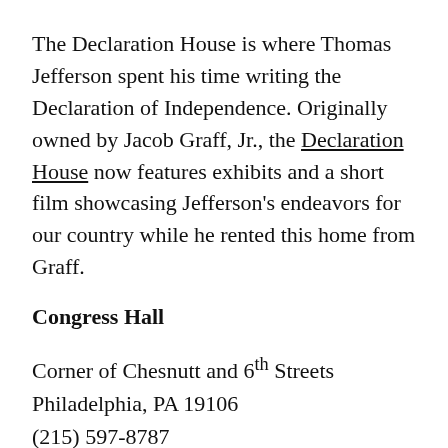The Declaration House is where Thomas Jefferson spent his time writing the Declaration of Independence. Originally owned by Jacob Graff, Jr., the Declaration House now features exhibits and a short film showcasing Jefferson's endeavors for our country while he rented this home from Graff.
Congress Hall
Corner of Chesnutt and 6th Streets
Philadelphia, PA 19106
(215) 597-8787
www.nps.gov/inde/congress-hall
Congress Hall, a two-story brick Georgian building, was the home of the U.S. Congress from 1790 until 1800. This is where the role of Congress was